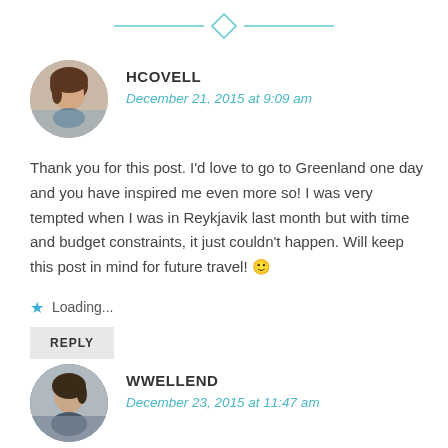[Figure (illustration): Decorative horizontal divider with a diamond shape in the center and horizontal lines on each side, in cyan/teal color]
[Figure (photo): Circular avatar photo of a woman with brown hair]
HCOVELL
December 21, 2015 at 9:09 am
Thank you for this post. I'd love to go to Greenland one day and you have inspired me even more so! I was very tempted when I was in Reykjavik last month but with time and budget constraints, it just couldn't happen. Will keep this post in mind for future travel! 🙂
Loading...
REPLY
[Figure (photo): Circular avatar photo of a person outdoors in cold weather]
WWELLEND
December 23, 2015 at 11:47 am